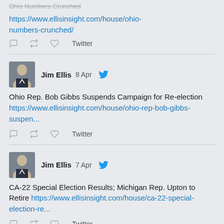Ohio Numbers Crunched https://www.ellisinsight.com/house/ohio-numbers-crunched/
Twitter
Jim Ellis 8 Apr — Ohio Rep. Bob Gibbs Suspends Campaign for Re-election https://www.ellisinsight.com/house/ohio-rep-bob-gibbs-suspen...
Twitter
Jim Ellis 7 Apr — CA-22 Special Election Results; Michigan Rep. Upton to Retire https://www.ellisinsight.com/house/ca-22-special-election-re...
Twitter